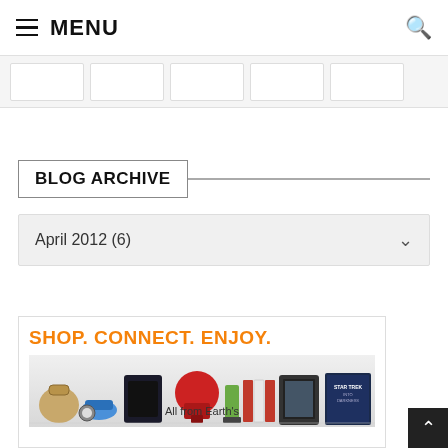≡ MENU
[Figure (screenshot): Navigation thumbnail strip with 5 white rounded rectangle placeholder images]
BLOG ARCHIVE
April 2012 (6)
[Figure (infographic): Amazon advertisement banner with orange text 'SHOP. CONNECT. ENJOY.' and product images including PS3, KitchenAid mixer, Kindle, Star Trek movie, handbag, shoes, blender. Caption: 'All from Earth's']